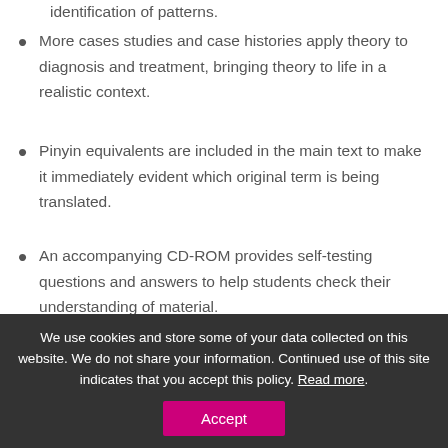identification of patterns.
More cases studies and case histories apply theory to diagnosis and treatment, bringing theory to life in a realistic context.
Pinyin equivalents are included in the main text to make it immediately evident which original term is being translated.
An accompanying CD-ROM provides self-testing questions and answers to help students check their understanding of material.
The glossary has been expanded to include more
We use cookies and store some of your data collected on this website. We do not share your information. Continued use of this site indicates that you accept this policy. Read more.
Accept